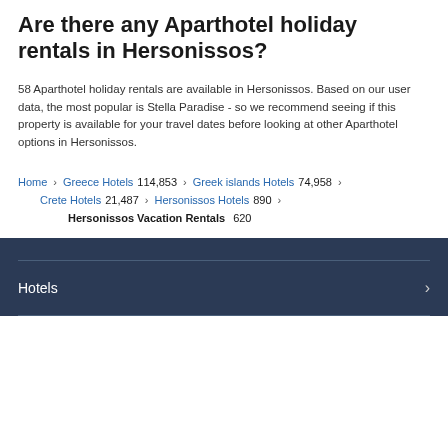Are there any Aparthotel holiday rentals in Hersonissos?
58 Aparthotel holiday rentals are available in Hersonissos. Based on our user data, the most popular is Stella Paradise - so we recommend seeing if this property is available for your travel dates before looking at other Aparthotel options in Hersonissos.
Home > Greece Hotels 114,853 > Greek islands Hotels 74,958 > Crete Hotels 21,487 > Hersonissos Hotels 890 > Hersonissos Vacation Rentals 620
Hotels